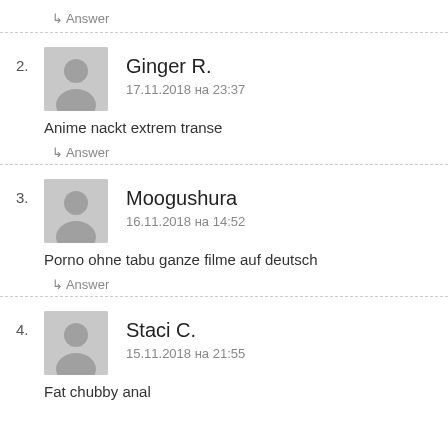↳ Answer
2. Ginger R. — 17.11.2018 на 23:37 — Anime nackt extrem transe
↳ Answer
3. Moogushura — 16.11.2018 на 14:52 — Porno ohne tabu ganze filme auf deutsch
↳ Answer
4. Staci C. — 15.11.2018 на 21:55 — Fat chubby anal